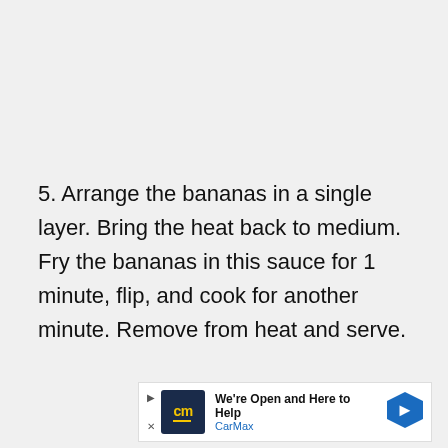5. Arrange the bananas in a single layer. Bring the heat back to medium. Fry the bananas in this sauce for 1 minute, flip, and cook for another minute. Remove from heat and serve.
[Figure (other): CarMax advertisement banner: 'We're Open and Here to Help' with CarMax logo, blue hexagon arrow icon, play and close buttons.]